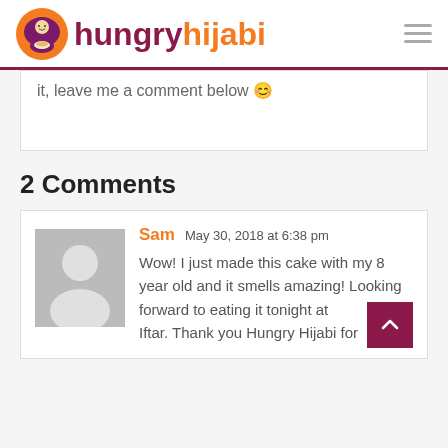[Figure (logo): Hungry Hijabi logo with orange circle icon and purple/orange wordmark]
it, leave me a comment below 🙂
2 Comments
Sam  May 30, 2018 at 6:38 pm
Wow! I just made this cake with my 8 year old and it smells amazing! Looking forward to eating it tonight at Iftar. Thank you Hungry Hijabi for...